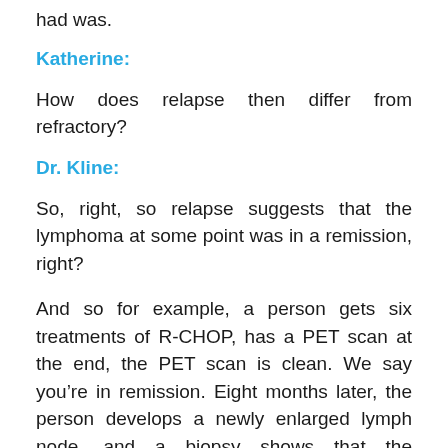had was.
Katherine:
How does relapse then differ from refractory?
Dr. Kline:
So, right, so relapse suggests that the lymphoma at some point was in a remission, right?
And so for example, a person gets six treatments of R-CHOP, has a PET scan at the end, the PET scan is clean. We say you’re in remission. Eight months later, the person develops a newly enlarged lymph node, and a biopsy shows that the lymphoma has come